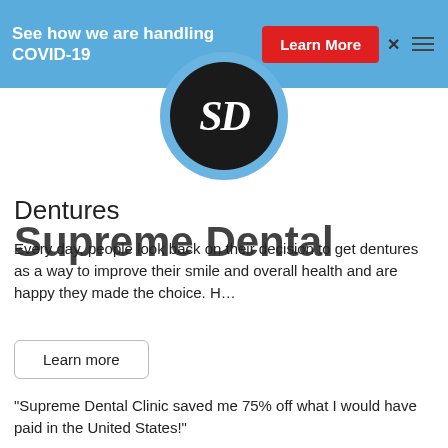See how we are handling COVID-19  Learn More
[Figure (logo): Supreme Dental clinic circular logo with SD initials in white on black circle, surrounded by light blue ring]
Dentures
Supreme Dental
Every day, people look back on their decision to get dentures as a way to improve their smile and overall health and are happy they made the choice. H…
Learn more
"Supreme Dental Clinic saved me 75% off what I would have paid in the United States!"
Schedule Your Appointment Today!
PHONE NUMBERS
TOLL FREE (844) 793-1880
US (928) 750-6869
MX 01152(658) 517-3501